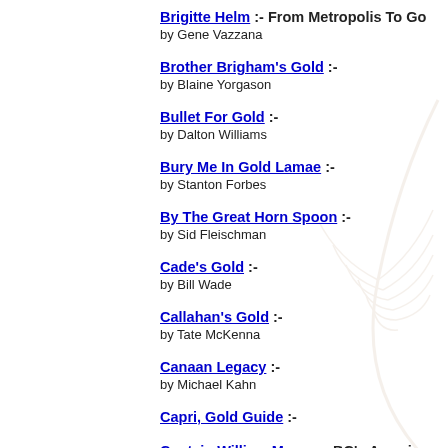Brigitte Helm :- From Metropolis To Go... by Gene Vazzana
Brother Brigham's Gold :- by Blaine Yorgason
Bullet For Gold :- by Dalton Williams
Bury Me In Gold Lamae :- by Stanton Forbes
By The Great Horn Spoon :- by Sid Fleischman
Cade's Gold :- by Bill Wade
Callahan's Gold :- by Tate McKenna
Canaan Legacy :- by Michael Kahn
Capri, Gold Guide :-
Captain William Moore :- BC's Amazing...